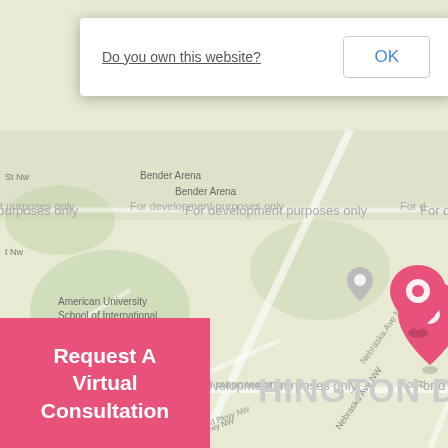[Figure (screenshot): Google Maps screenshot showing area around American University in Washington D.C., with a pink location pin marker, and watermark text 'For development purposes only'. Shows landmarks including Nebraska Avenue Parking Lot, American University East Campus, Chef Geoff's, The Towers Condominium, Cathedral Heights, Battery Kemble Park.]
Do you own this website?
OK
Request A Virtual Consultation